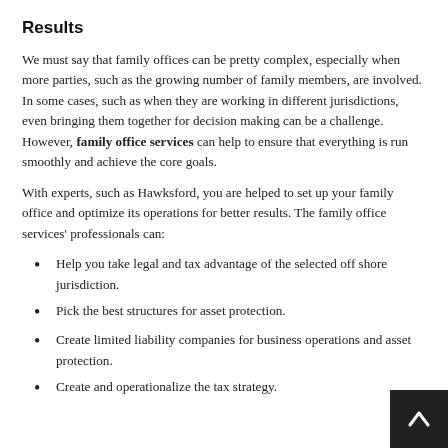Results
We must say that family offices can be pretty complex, especially when more parties, such as the growing number of family members, are involved. In some cases, such as when they are working in different jurisdictions, even bringing them together for decision making can be a challenge. However, family office services can help to ensure that everything is run smoothly and achieve the core goals.
With experts, such as Hawksford, you are helped to set up your family office and optimize its operations for better results. The family office services' professionals can:
Help you take legal and tax advantage of the selected off shore jurisdiction.
Pick the best structures for asset protection.
Create limited liability companies for business operations and asset protection.
Create and operationalize the tax strategy.